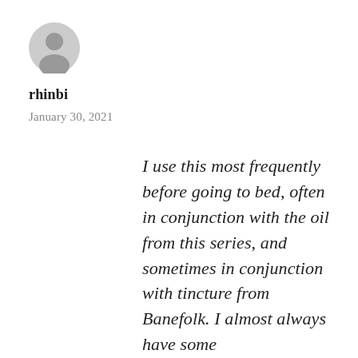[Figure (illustration): Generic user avatar icon — a grey silhouette of a person inside a grey circle]
rhinbi
January 30, 2021
I use this most frequently before going to bed, often in conjunction with the oil from this series, and sometimes in conjunction with tincture from Banefolk. I almost always have some